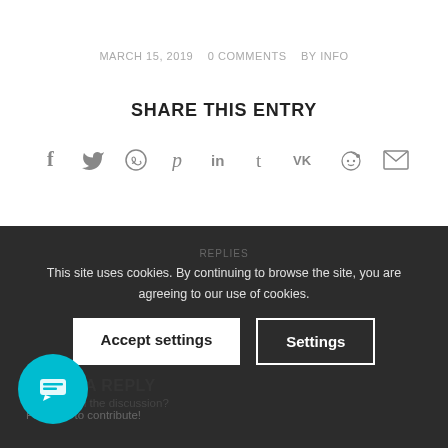MARCH 15, 2019   0 COMMENTS   BY INFO
SHARE THIS ENTRY
[Figure (infographic): Row of social media share icons: Facebook, Twitter, WhatsApp, Pinterest, LinkedIn, Tumblr, VK, Reddit, Email]
This site uses cookies. By continuing to browse the site, you are agreeing to our use of cookies.
Accept settings   Settings
LEAVE A REPLY
0 REPLIES
Want to join the discussion?
Feel free to contribute!